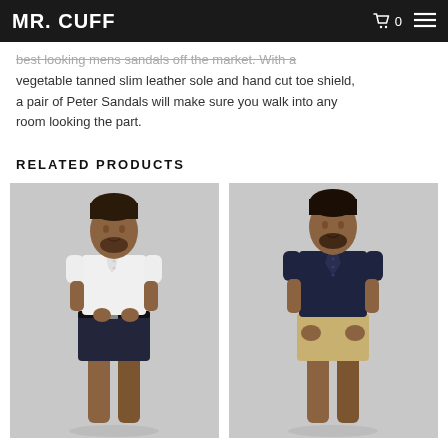MR. CUFF
vegetable tanned slim leather sole and hand cut toe shield, a pair of Peter Sandals will make sure you walk into any room looking the part.
RELATED PRODUCTS
[Figure (photo): Man wearing white short-sleeve button-up shirt and navy shorts, standing against light grey background]
[Figure (photo): Man wearing navy short-sleeve button-up shirt and khaki shorts, standing against light grey background]